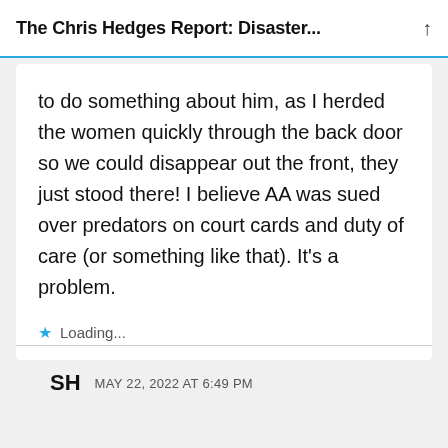The Chris Hedges Report: Disaster...
to do something about him, as I herded the women quickly through the back door so we could disappear out the front, they just stood there! I believe AA was sued over predators on court cards and duty of care (or something like that). It’s a problem.
Loading...
SH  MAY 22, 2022 AT 6:49 PM